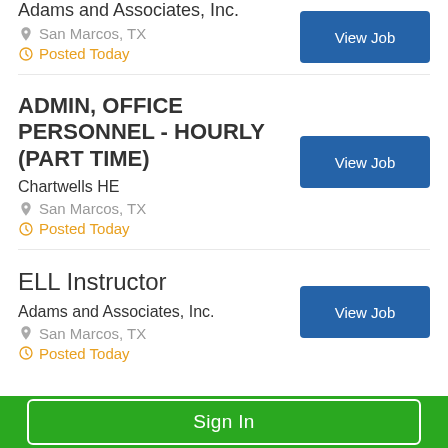Adams and Associates, Inc.
San Marcos, TX
Posted Today
ADMIN, OFFICE PERSONNEL - HOURLY (PART TIME)
Chartwells HE
San Marcos, TX
Posted Today
ELL Instructor
Adams and Associates, Inc.
San Marcos, TX
Posted Today
Sign In